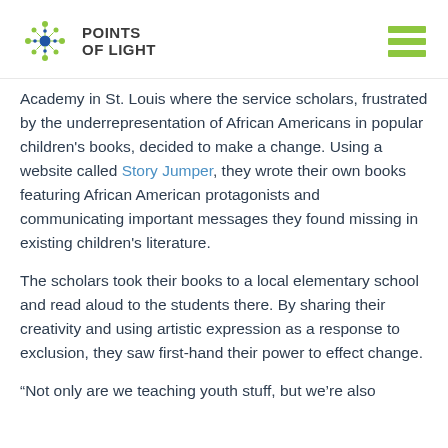POINTS OF LIGHT
Academy in St. Louis where the service scholars, frustrated by the underrepresentation of African Americans in popular children's books, decided to make a change. Using a website called Story Jumper, they wrote their own books featuring African American protagonists and communicating important messages they found missing in existing children's literature.
The scholars took their books to a local elementary school and read aloud to the students there. By sharing their creativity and using artistic expression as a response to exclusion, they saw first-hand their power to effect change.
“Not only are we teaching youth stuff, but we’re also